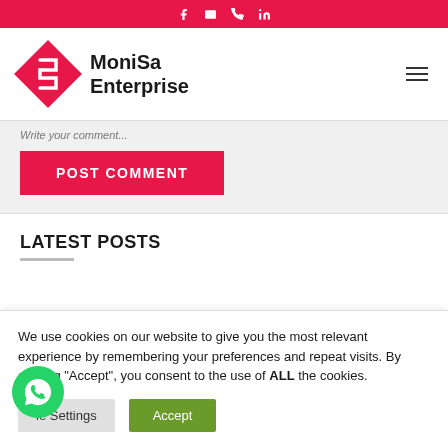Social icons: Facebook, Email, Phone, LinkedIn
[Figure (logo): MoniSa Enterprise logo with diamond shape and hamburger menu]
Write your comment...
POST COMMENT
LATEST POSTS
We use cookies on our website to give you the most relevant experience by remembering your preferences and repeat visits. By clicking "Accept", you consent to the use of ALL the cookies.
Cookie Settings   Accept